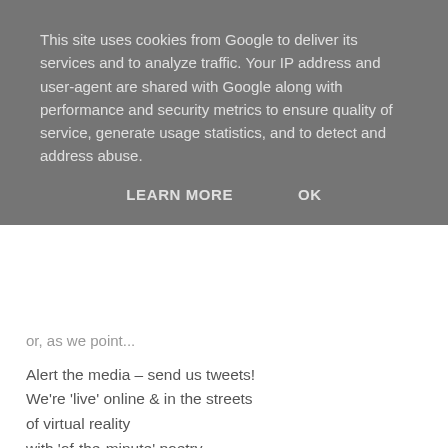This site uses cookies from Google to deliver its services and to analyze traffic. Your IP address and user-agent are shared with Google along with performance and security metrics to ensure quality of service, generate usage statistics, and to detect and address abuse.
LEARN MORE   OK
or, as we point...
Alert the media – send us tweets!
We're 'live' online & in the streets
of virtual reality
with 'of-the-minute' poetry.
Or, as @ClareKirwan said: Things can't possibly get worse / unless we do the news in VERSE
Here are some of our favourites:
From @pchallinor
Big Society,